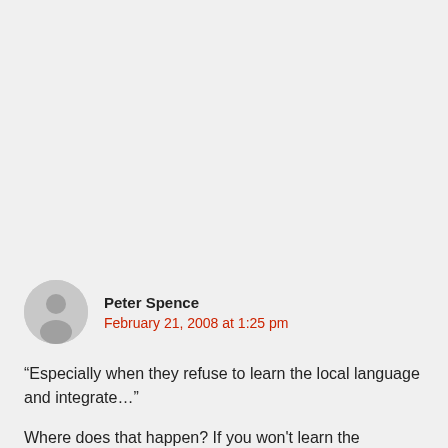Peter Spence
February 21, 2008 at 1:25 pm
“Especially when they refuse to learn the local language and integrate…”
Where does that happen? If you won't learn the language and integrate you pretty much can't survive. In Peru immigrants